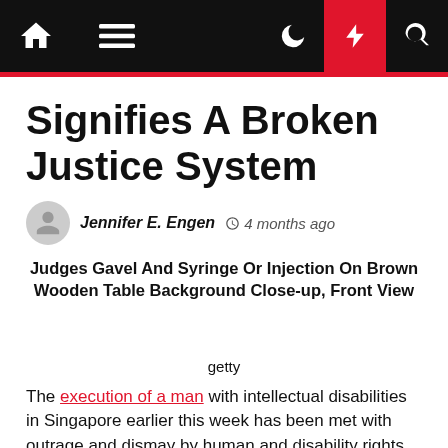Navigation bar with home, menu, dark mode, lightning/breaking, and search icons
Signifies A Broken Justice System
Jennifer E. Engen  4 months ago
Judges Gavel And Syringe Or Injection On Brown Wooden Table Background Close-up, Front View
getty
The execution of a man with intellectual disabilities in Singapore earlier this week has been met with outrage and dismay by human and disability rights